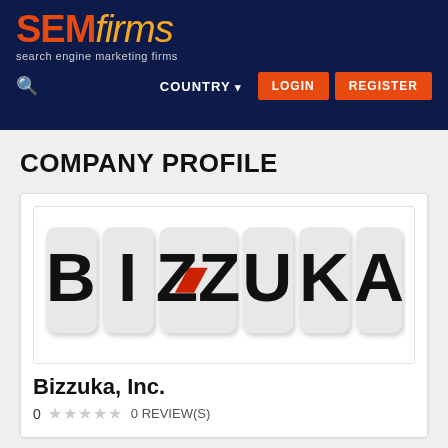SEMfirms — search engine marketing firms
COMPANY PROFILE
[Figure (logo): Bizzuka logo — letters B, I, ZZ, U, K, A each in individual rounded rectangular tiles with drop shadow, black bold sans-serif letters, with a red parallelogram accent on the ZZ tile]
Bizzuka, Inc.
0 ★★★★★ 0 REVIEW(S)